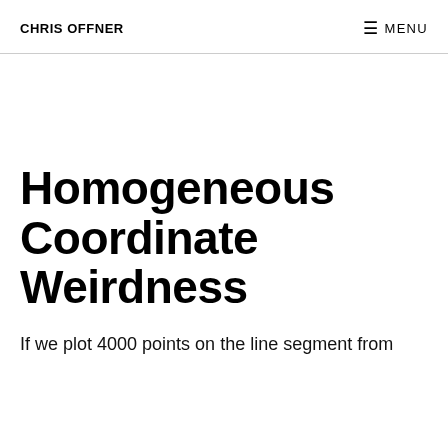CHRIS OFFNER    ☰ MENU
Homogeneous Coordinate Weirdness
If we plot 4000 points on the line segment from